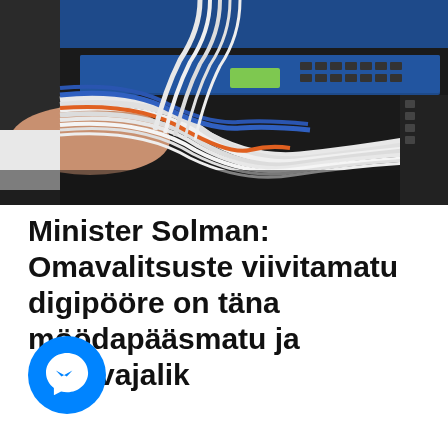[Figure (photo): A hand plugging or managing network cables (white and colored ethernet/fiber cables) into a blue server rack or network switch in a data center.]
Minister Solman: Omavalitsuste viivitamatu digipööre on täna möödapääsmatu ja hädavajalik
[Figure (logo): Facebook Messenger logo — blue circle with white lightning bolt/chat bubble icon.]